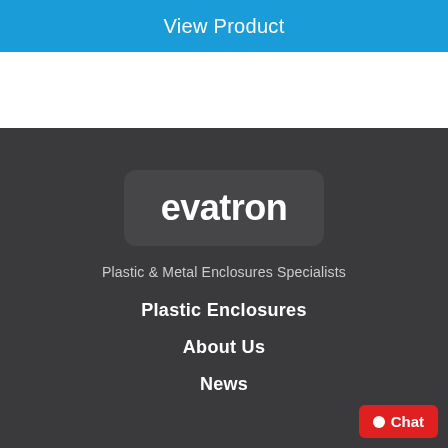View Product
[Figure (logo): Evatron company logo — white text 'evatron' on a dark rounded rectangle background]
Plastic & Metal Enclosures Specialists
Plastic Enclosures
About Us
News
Chat